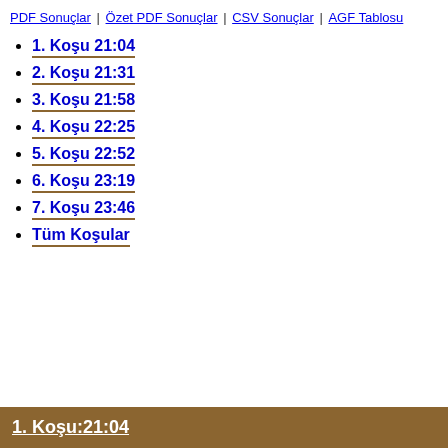PDF Sonuçlar | Özet PDF Sonuçlar | CSV Sonuçlar | AGF Tablosu
1. Koşu 21:04
2. Koşu 21:31
3. Koşu 21:58
4. Koşu 22:25
5. Koşu 22:52
6. Koşu 23:19
7. Koşu 23:46
Tüm Koşular
1. Koşu:21:04